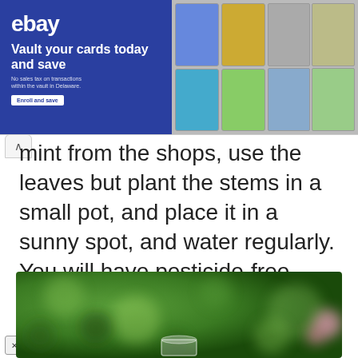[Figure (screenshot): eBay advertisement banner: 'Vault your cards today and save. No sales tax on transactions within the vault in Delaware. Enroll and save.' with trading card images on the right side.]
mint from the shops, use the leaves but plant the stems in a small pot, and place it in a sunny spot, and water regularly. You will have pesticide-free fresh mint leaves year-round.
[Figure (photo): Blurred bokeh photo of a glass on a surface with green foliage and pink flowers in the background.]